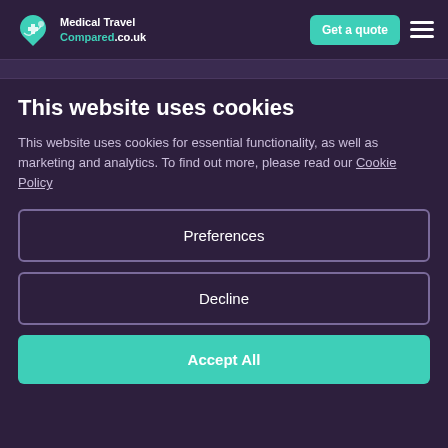Medical Travel Compared.co.uk | Get a quote
This website uses cookies
This website uses cookies for essential functionality, as well as marketing and analytics. To find out more, please read our Cookie Policy
Preferences
Decline
Accept All